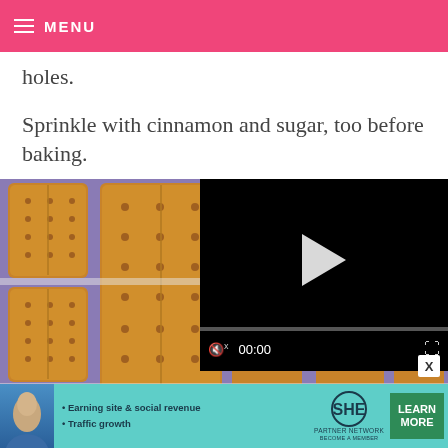MENU
holes.
Sprinkle with cinnamon and sugar, too before baking.
[Figure (photo): Graham crackers on a purple/lavender baking rack, with a video player overlay showing a black screen with a play button, controls showing 00:00 and a progress bar.]
[Figure (infographic): Advertisement banner for SHE Partner Network with teal background, a person's photo, bullet points about 'Earning site & social revenue' and 'Traffic growth', the SHE logo, and a green 'LEARN MORE' button.]